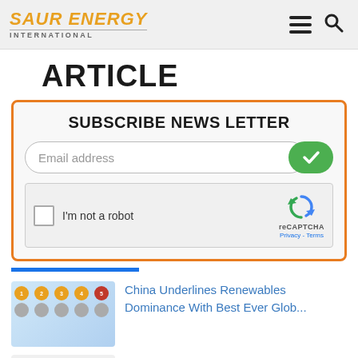SAUR ENERGY INTERNATIONAL
ARTICLE
SUBSCRIBE NEWS LETTER
Email address
I'm not a robot
reCAPTCHA Privacy - Terms
[Figure (photo): China renewable energy article thumbnail with numbered circles in a grid]
China Underlines Renewables Dominance With Best Ever Glob...
[Figure (bar-chart): South India renewable energy bar chart thumbnail]
South India's Second Big Renewable Push